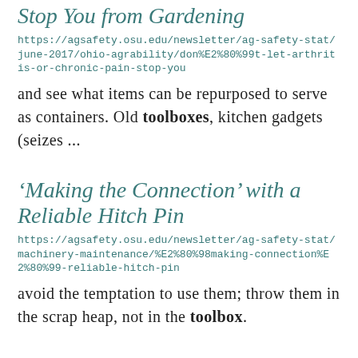Stop You from Gardening
https://agsafety.osu.edu/newsletter/ag-safety-stat/june-2017/ohio-agrability/don%E2%80%99t-let-arthritis-or-chronic-pain-stop-you
and see what items can be repurposed to serve as containers. Old toolboxes, kitchen gadgets (seizes ...
‘Making the Connection’ with a Reliable Hitch Pin
https://agsafety.osu.edu/newsletter/ag-safety-stat/machinery-maintenance/%E2%80%98making-connection%E2%80%99-reliable-hitch-pin
avoid the temptation to use them; throw them in the scrap heap, not in the toolbox.